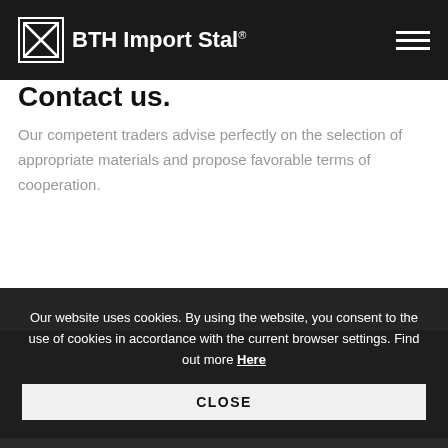BTH Import Stal®
relevant regulations of the website www.facebook.com
Do you need our help? Contact us.
Our competent traders advise perfectly on the selection of appropriate materials and propose favorable terms of cooperation.
Our website uses cookies. By using the website, you consent to the use of cookies in accordance with the current browser settings. Find out more Here
CLOSE
Our locations
Write to us